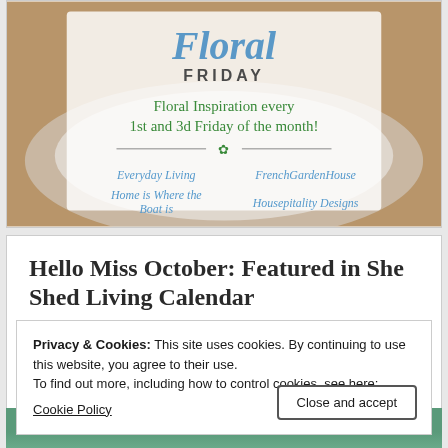[Figure (infographic): Floral Friday promotional banner with script 'Floral' text and 'FRIDAY' below it. Text reads 'Floral Inspiration every 1st and 3d Friday of the month!' with four blog names: Everyday Living, FrenchGardenHouse, Home is Where the Boat is, Housepitality Designs. Background shows floral/table arrangement photo.]
Hello Miss October: Featured in She Shed Living Calendar
Privacy & Cookies: This site uses cookies. By continuing to use this website, you agree to their use.
To find out more, including how to control cookies, see here:
Cookie Policy
Close and accept
[Figure (photo): Partial view of a photo at the bottom, showing green shed or garden structure]